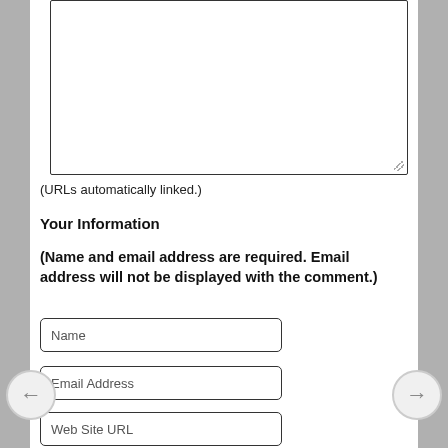[Figure (other): Large text area input box for comment entry, with resize handle at bottom right]
(URLs automatically linked.)
Your Information
(Name and email address are required. Email address will not be displayed with the comment.)
Name
Email Address
Web Site URL